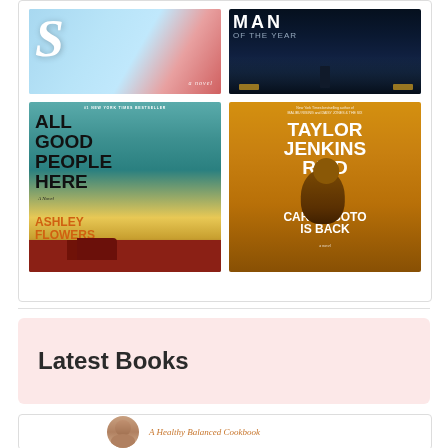[Figure (illustration): Book cover: 'S' - a novel, light blue background with a large stylized italic letter S and red/pink splatter elements]
[Figure (photo): Book cover: Dark noir-style cover showing a man in rain on a city street at night, dark blue tones with yellow car headlights, large white title letters at top]
[Figure (illustration): Book cover: 'All Good People Here' by Ashley Flowers, #1 New York Times Bestseller, teal sky background with a red barn, orange handwritten-style title]
[Figure (illustration): Book cover: 'Carrie Soto Is Back' by Taylor Jenkins Reid, gold/orange background with a figure with head tilted back, white bold text for title and author]
Latest Books
[Figure (photo): Partial view of book entry: circular author avatar photo and partial italic text reading 'A Healthy Balanced Cookbook']